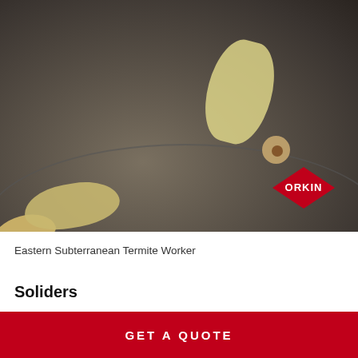[Figure (photo): Close-up macro photograph of Eastern Subterranean Termite Workers on a light gray surface. Multiple pale yellowish-white termites visible, with the Orkin logo (red diamond shape with white text) visible in the lower right corner of the image.]
Eastern Subterranean Termite Worker
Soliders
GET A QUOTE